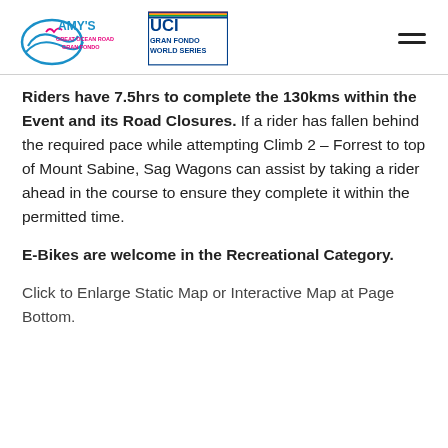Amy's Great Ocean Road Gran Fondo | UCI Gran Fondo World Series
Riders have 7.5hrs to complete the 130kms within the Event and its Road Closures. If a rider has fallen behind the required pace while attempting Climb 2 – Forrest to top of Mount Sabine, Sag Wagons can assist by taking a rider ahead in the course to ensure they complete it within the permitted time.
E-Bikes are welcome in the Recreational Category.
Click to Enlarge Static Map or Interactive Map at Page Bottom.